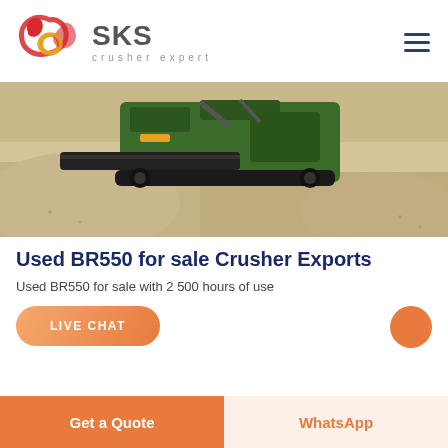SKS crusher expert
[Figure (photo): Aerial/close-up photo of a green BR550 mobile crusher machine surrounded by large piles of gravel/crushed stone material on a construction or quarry site.]
Used BR550 for sale Crusher Exports
Used BR550 for sale with 2 500 hours of use
LIVE CHAT
Get a Quote
WhatsApp